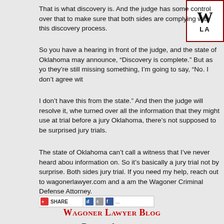[Figure (logo): Wagoner Lawyer logo — bold W with LA text below, inside a red-bordered white box]
That is what discovery is. And the judge has some control over that to make sure that both sides are complying with this discovery process.
So you have a hearing in front of the judge, and the state of Oklahoma may announce, “Discovery is complete.” But as yo they’re still missing something, I’m going to say, “No. I don’t agree wit
I don’t have this from the state.” And then the judge will resolve it, whe turned over all the information that they might use at trial before a jury Oklahoma, there’s not supposed to be surprised jury trials.
The state of Oklahoma can’t call a witness that I’ve never heard abou information on. So it’s basically a jury trial not by surprise. Both sides jury trial. If you need my help, reach out to wagonerlawyer.com and a am the Wagoner Criminal Defense Attorney.
[Figure (screenshot): Share button bar with social media icons including Facebook]
Wagoner Lawyer Blog
Recent Articles